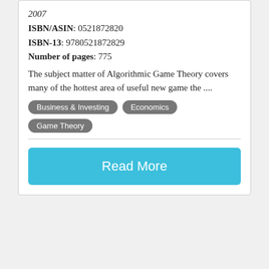2007
ISBN/ASIN: 0521872820
ISBN-13: 9780521872829
Number of pages: 775
The subject matter of Algorithmic Game Theory covers many of the hottest area of useful new game the ....
Business & Investing
Economics
Game Theory
Read More